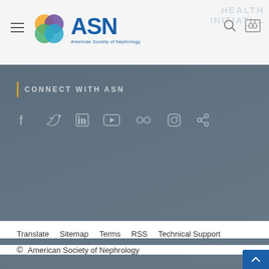ASN - American Society of Nephrology
CONNECT WITH ASN
[Figure (infographic): Social media icons row: Facebook, Twitter, LinkedIn, YouTube, Flickr, Instagram, Share]
[Figure (infographic): CONTACT button with rounded border]
Translate | Sitemap | Terms | RSS | Technical Support
© American Society of Nephrology